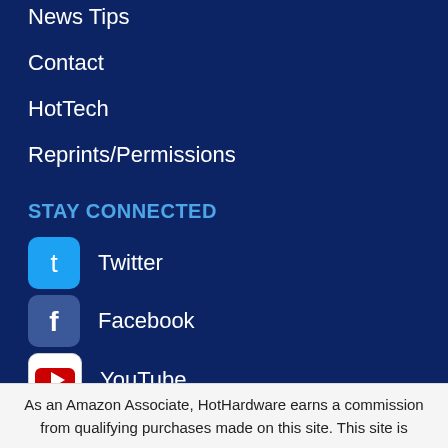News Tips
Contact
HotTech
Reprints/Permissions
STAY CONNECTED
Twitter
Facebook
YouTube
RSS
As an Amazon Associate, HotHardware earns a commission from qualifying purchases made on this site. This site is